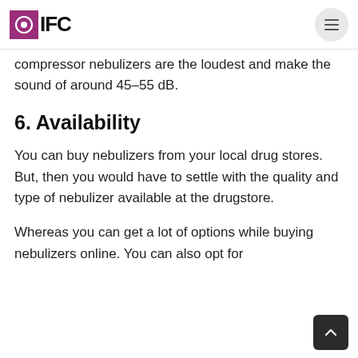OIFC
compressor nebulizers are the loudest and make the sound of around 45-55 dB.
6. Availability
You can buy nebulizers from your local drug stores. But, then you would have to settle with the quality and type of nebulizer available at the drugstore.
Whereas you can get a lot of options while buying nebulizers online. You can also opt for